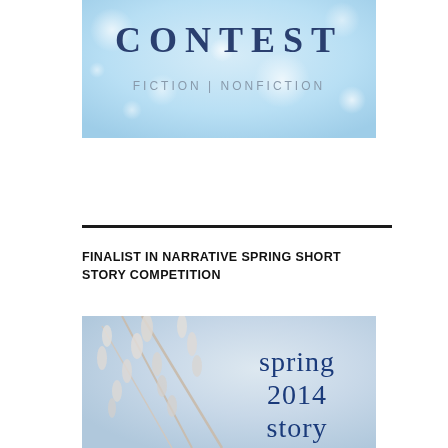[Figure (illustration): Light blue bokeh background with large text CONTEST and subtitle FICTION | NONFICTION in gray letters]
FINALIST IN NARRATIVE SPRING SHORT STORY COMPETITION
[Figure (illustration): Soft white floral/botanical background with dark blue text reading 'spring 2014 story']